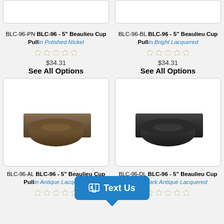[Figure (photo): Top portion of two cup pull product images (cropped at top of page)]
BLC-96-PN BLC-96 - 5" Beaulieu Cup Pull in Polished Nickel
BLC-96-BL BLC-96 - 5" Beaulieu Cup Pull in Bright Lacquered
$34.31
See All Options
$34.31
See All Options
[Figure (photo): Beaulieu cup pull hardware in antique lacquered bronze finish]
[Figure (photo): Beaulieu cup pull hardware in dark finish]
BLC-96-AL BLC-96 - 5" Beaulieu Cup Pull in Antique Lacquered
BLC-96-DL BLC-96 - 5" Beaulieu Cup Pull in Dark Antique Lacquered
Text Us